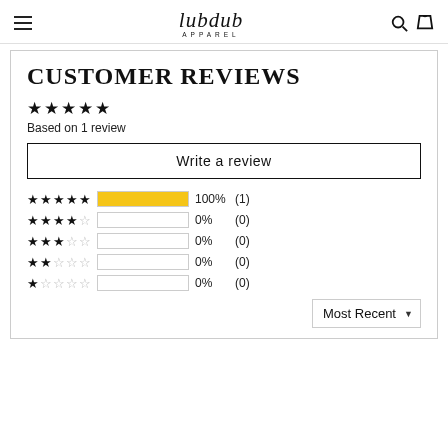lubdub APPAREL
CUSTOMER REVIEWS
Based on 1 review
Write a review
[Figure (bar-chart): Star rating breakdown]
Most Recent